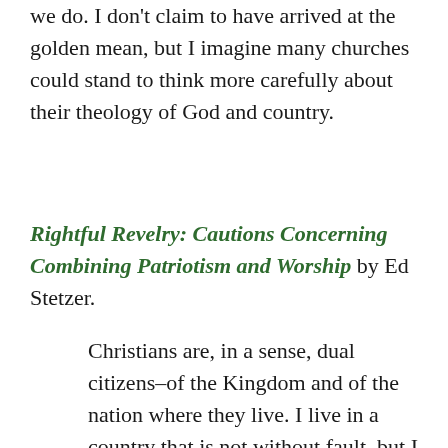we do. I don't claim to have arrived at the golden mean, but I imagine many churches could stand to think more carefully about their theology of God and country.
Rightful Revelry: Cautions Concerning Combining Patriotism and Worship by Ed Stetzer.
Christians are, in a sense, dual citizens–of the Kingdom and of the nation where they live. I live in a country that is not without fault, but I am proud to be a